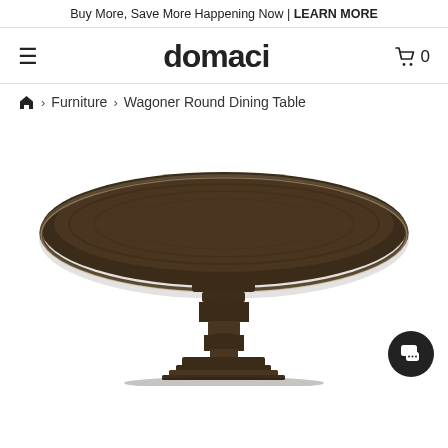Buy More, Save More Happening Now | LEARN MORE
domaci
Furniture > Wagoner Round Dining Table
[Figure (photo): Dark brown round pedestal dining table with ornate baluster base on white background]